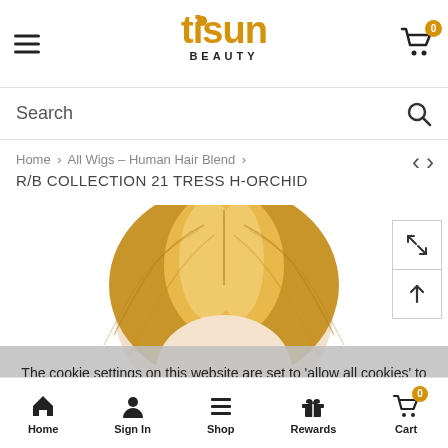tisun BEAUTY
Search
Home > All Wigs - Human Hair Blend > R/B COLLECTION 21 TRESS H-ORCHID
R/B COLLECTION 21 TRESS H-ORCHID
[Figure (photo): Top-down view of a blonde human hair blend wig on a mannequin]
The cookie settings on this website are set to 'allow all cookies' to give you the very best experience. Please click
Home   Sign In   Shop   Rewards   Cart